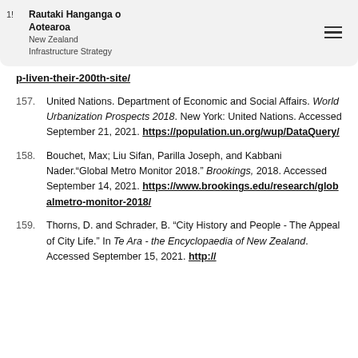Rautaki Hanganga o Aotearoa
New Zealand Infrastructure Strategy
p-liven-their-200th-site/
157. United Nations. Department of Economic and Social Affairs. World Urbanization Prospects 2018. New York: United Nations. Accessed September 21, 2021. https://population.un.org/wup/DataQuery/
158. Bouchet, Max; Liu Sifan, Parilla Joseph, and Kabbani Nader.“Global Metro Monitor 2018.” Brookings, 2018. Accessed September 14, 2021. https://www.brookings.edu/research/globalmetro-monitor-2018/
159. Thorns, D. and Schrader, B. “City History and People - The Appeal of City Life.” In Te Ara - the Encyclopaedia of New Zealand. Accessed September 15, 2021. http://